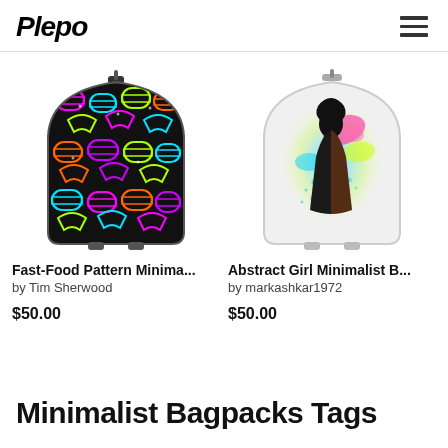Plepo
[Figure (photo): Dark backpack with colorful neon fast-food pattern (burgers, tacos) on black background]
Fast-Food Pattern Minima...
by Tim Sherwood
$50.00
[Figure (photo): White minimalist backpack with abstract colorful girl silhouette illustration]
Abstract Girl Minimalist B...
by markashkar1972
$50.00
Minimalist Bagpacks Tags